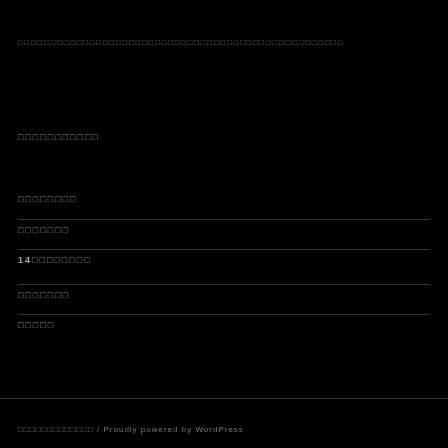□□□□□□□□□□□□□□□□□□□□□□□□□□□□□□□□□□□□□□□□□□□□□□□□□□
□□□□□□□□□□□
□□□□□□□□
□□□□□□□
14□□□□□□□□
□□□□□□□
□□□□□
□□□□□□□□□□□□□  /  Proudly powered by WordPress